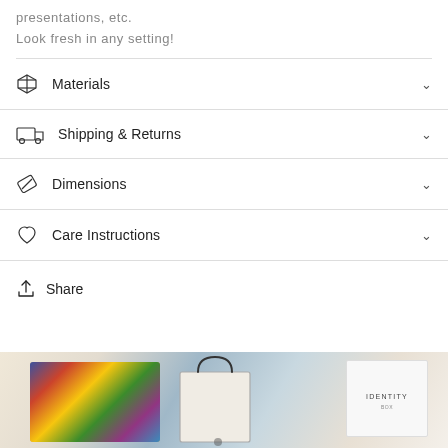presentations, etc.
Look fresh in any setting!
Materials
Shipping & Returns
Dimensions
Care Instructions
Share
[Figure (photo): A box filled with colorful socks next to a shopping bag and an IDENTITY branded card/package on a light background.]